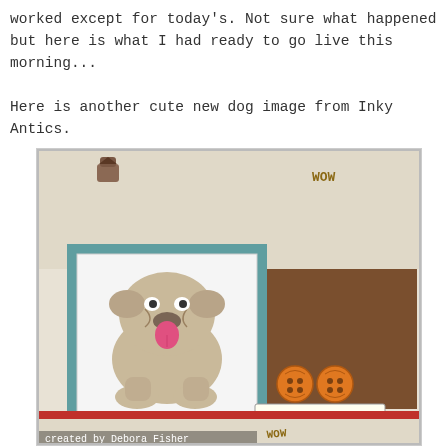worked except for today's. Not sure what happened but here is what I had ready to go live this morning...

Here is another cute new dog image from Inky Antics.
[Figure (photo): A handmade greeting card featuring a bulldog illustration from Inky Antics, sitting on patterned dog-themed scrapbook paper with a brown cardstock panel, orange button embellishments, and a tag reading 'What's Up?'. The bottom has a red strip with additional dog-themed patterned paper. Text at bottom reads 'created by Debora Fisher'.]